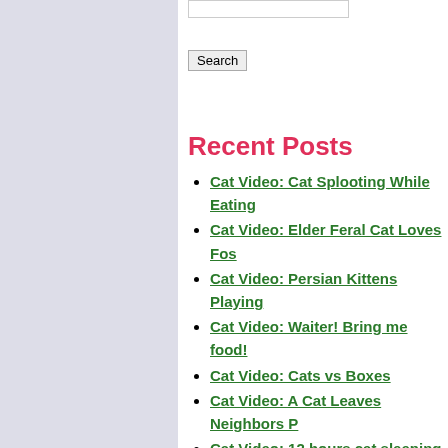[Figure (other): Search input field (text box) at top]
[Figure (other): Search button]
Recent Posts
Cat Video: Cat Splooting While Eating
Cat Video: Elder Feral Cat Loves Fos
Cat Video: Persian Kittens Playing
Cat Video: Waiter! Bring me food!
Cat Video: Cats vs Boxes
Cat Video: A Cat Leaves Neighbors P
Cat Video: 12 hours cat sleeping and
Cat Video: Kitten and Flemish Giant R
Cat Video: Cat & Bunny Best Friends
Cat Video: Ukraine women bring their
Categories
Charming (463)
Cute (476)
Dogs and Cats (34)